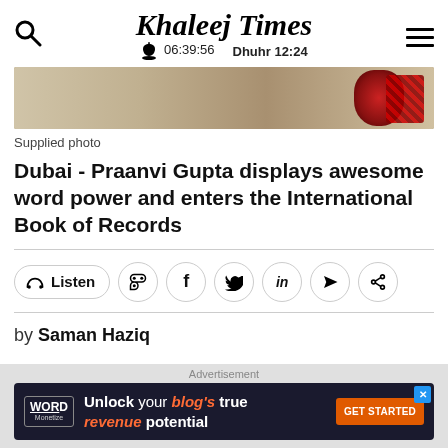Khaleej Times | 06:39:56 | Dhuhr 12:24
[Figure (photo): Partial photo showing a child with colorful background, red plaid clothing visible]
Supplied photo
Dubai - Praanvi Gupta displays awesome word power and enters the International Book of Records
by Saman Haziq
[Figure (other): Advertisement banner: Word Monetize - Unlock your blog's true revenue potential - GET STARTED]